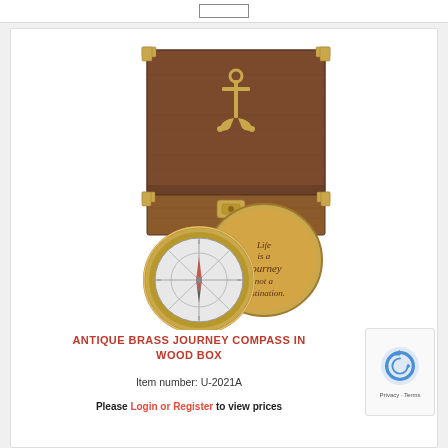[Figure (photo): Product photo of an antique brass compass with engraved lid reading 'Life is a Journey not a destination.' and a wooden box with brass anchor emblem on the lid and brass corner fittings.]
ANTIQUE BRASS JOURNEY COMPASS IN WOOD BOX
Item number: U-2021A
Please Login or Register to view prices